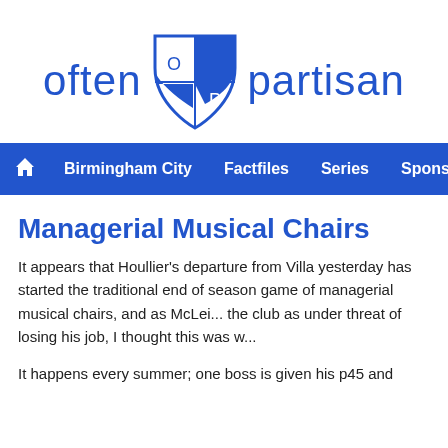[Figure (logo): Often Partisan logo with shield containing O and P letters in blue and white checkerboard pattern, flanked by the words 'often' and 'partisan' in blue]
Birmingham City  Factfiles  Series  Sponsorship  We
Managerial Musical Chairs
It appears that Houllier's departure from Villa yesterday has started the traditional end of season game of managerial musical chairs, and as McLei... the club as under threat of losing his job, I thought this was w...
It happens every summer; one boss is given his p45 and